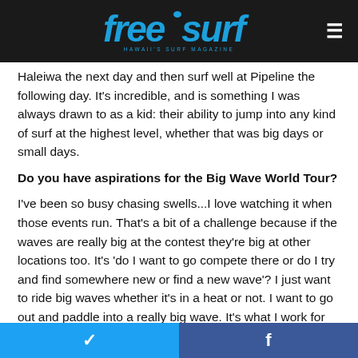[Figure (logo): freesurf Hawaii's Surf Magazine logo in blue on dark background]
Haleiwa the next day and then surf well at Pipeline the following day. It's incredible, and is something I was always drawn to as a kid: their ability to jump into any kind of surf at the highest level, whether that was big days or small days.
Do you have aspirations for the Big Wave World Tour?
I've been so busy chasing swells...I love watching it when those events run. That's a bit of a challenge because if the waves are really big at the contest they're big at other locations too. It's 'do I want to go compete there or do I try and find somewhere new or find a new wave'? I just want to ride big waves whether it's in a heat or not. I want to go out and paddle into a really big wave. It's what I work for all winter long: to